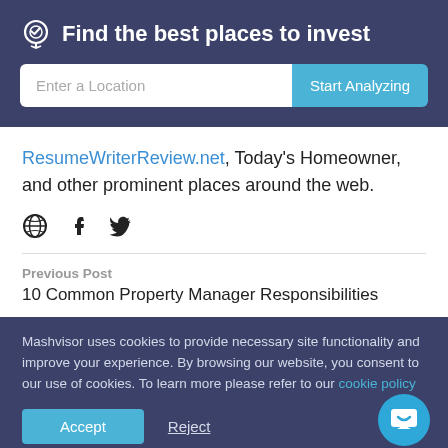Find the best places to invest
ResumeWriterReview.net, Today's Homeowner, and other prominent places around the web.
[Figure (other): Social media icons: globe, Facebook, Twitter]
Previous Post
10 Common Property Manager Responsibilities
Mashvisor uses cookies to provide necessary site functionality and improve your experience. By browsing our website, you consent to our use of cookies. To learn more please refer to our cookie policy